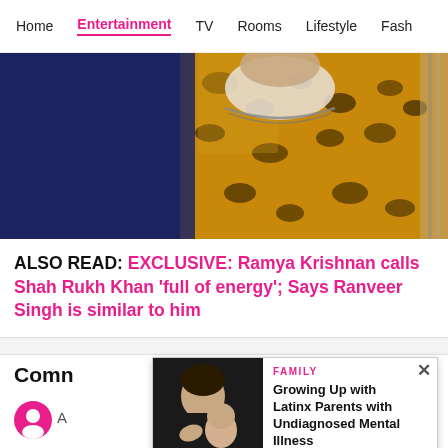Home | Entertainment | TV | Rooms | Lifestyle | Fash
[Figure (photo): Close-up of a man wearing a yellow leopard-print open shirt over a white t-shirt, with a chain necklace, blue background]
ALSO READ: EXCLUSIVE: Ramya Krishnan calls Shah Rukh Khan 'full of energy'; Says Ranveer Singh is similar to him
Comn
[Figure (photo): Advertisement: FAMILY - Growing Up with Latinx Parents with Undiagnosed Mental Illness - READ MORE > - HipLATINA]
A